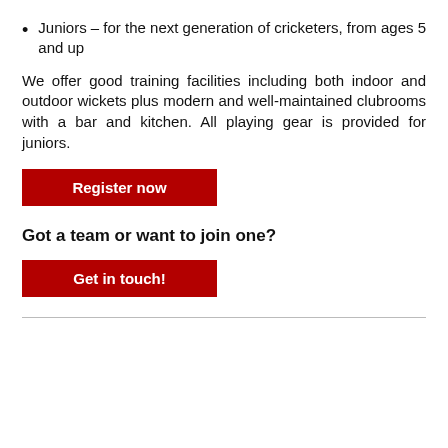Juniors – for the next generation of cricketers, from ages 5 and up
We offer good training facilities including both indoor and outdoor wickets plus modern and well-maintained clubrooms with a bar and kitchen. All playing gear is provided for juniors.
[Figure (other): Red button labeled 'Register now']
Got a team or want to join one?
[Figure (other): Red button labeled 'Get in touch!']